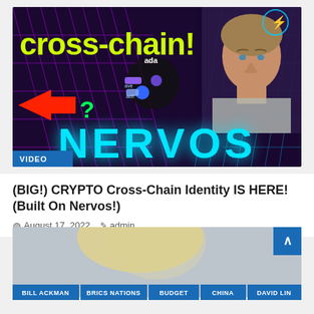[Figure (screenshot): Video thumbnail for crypto cross-chain identity video. Dark purple/neon background with 'cross-chain!' text in yellow-green, 'NERVOS' in large cyan text, a man's face on the right, blockchain diagram in center, red arrow with question mark on left, lightning bolt icon top right, VIDEO badge bottom left.]
(BIG!) CRYPTO Cross-Chain Identity IS HERE! (Built On Nervos!)
August 17, 2022   admin
[Figure (photo): Partial photo of a person with light blonde hair, bottom portion visible, with colored tag buttons below reading BILL ACKMAN, BRICS NATIONS, BUDGET, CHINA, DAVID LIN]